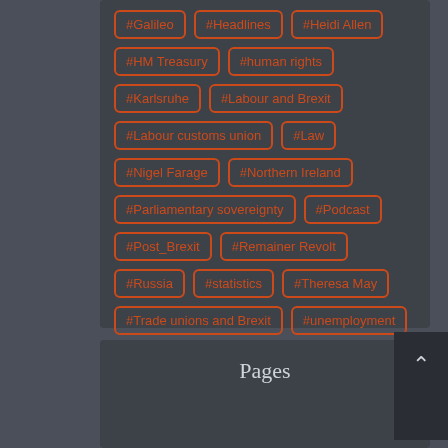#Galileo, #Headlines, #Heidi Allen, #HM Treasury, #human rights, #Karlsruhe, #Labour and Brexit, #Labour customs union, #Law, #Nigel Farage, #Northern Ireland, #Parliamentary sovereignty, #Podcast, #Post_Brexit, #Remainer Revolt, #Russia, #statistics, #Theresa May, #Trade unions and Brexit, #unemployment, #Withdrawal Agreement, #Workers' rights, #world trade organisation
Pages